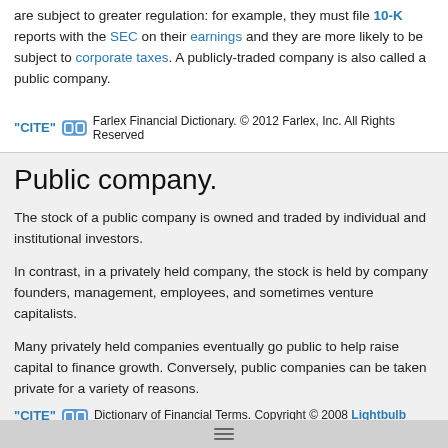are subject to greater regulation: for example, they must file 10-K reports with the SEC on their earnings and they are more likely to be subject to corporate taxes. A publicly-traded company is also called a public company.
"CITE" [link icon] Farlex Financial Dictionary. © 2012 Farlex, Inc. All Rights Reserved
Public company.
The stock of a public company is owned and traded by individual and institutional investors.
In contrast, in a privately held company, the stock is held by company founders, management, employees, and sometimes venture capitalists.
Many privately held companies eventually go public to help raise capital to finance growth. Conversely, public companies can be taken private for a variety of reasons.
"CITE" [link icon] Dictionary of Financial Terms. Copyright © 2008 Lightbulb Press, Inc. All Rights Reserved